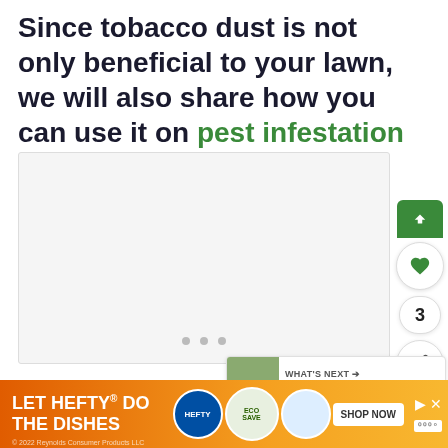Since tobacco dust is not only beneficial to your lawn, we will also share how you can use it on pest infestation in your plants.
[Figure (photo): Image placeholder area (white/light gray box) with three navigation dots at the bottom center]
[Figure (screenshot): UI overlay showing: green up-arrow button, green heart button, count badge showing 3, share button with plus icon]
[Figure (screenshot): WHAT'S NEXT panel with thumbnail and text '87 Garden Path Ideas F...']
[Figure (screenshot): Advertisement bar: 'LET HEFTY DO THE DISHES' with product images and SHOP NOW button. © 2022 Reynolds Consumer Products LLC]